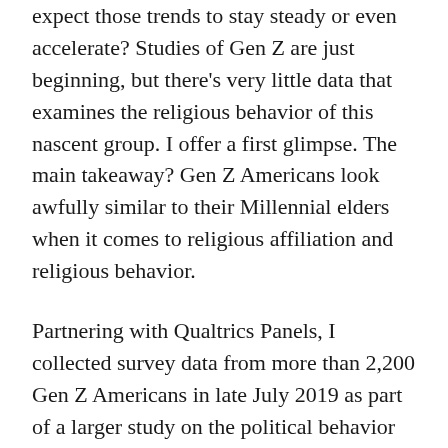expect those trends to stay steady or even accelerate? Studies of Gen Z are just beginning, but there's very little data that examines the religious behavior of this nascent group. I offer a first glimpse. The main takeaway? Gen Z Americans look awfully similar to their Millennial elders when it comes to religious affiliation and religious behavior.
Partnering with Qualtrics Panels, I collected survey data from more than 2,200 Gen Z Americans in late July 2019 as part of a larger study on the political behavior of this emerging generation. Although not a purely random